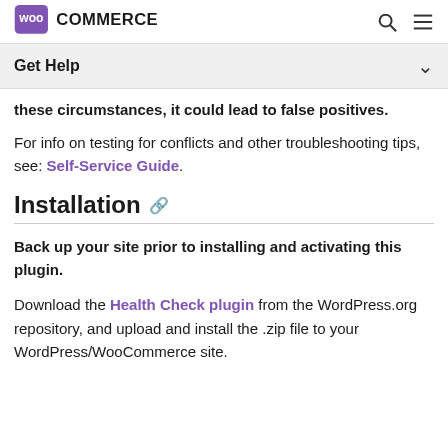WooCommerce [logo] [search icon] [menu icon]
Get Help
these circumstances, it could lead to false positives.
For info on testing for conflicts and other troubleshooting tips, see: Self-Service Guide.
Installation
Back up your site prior to installing and activating this plugin.
Download the Health Check plugin from the WordPress.org repository, and upload and install the .zip file to your WordPress/WooCommerce site.